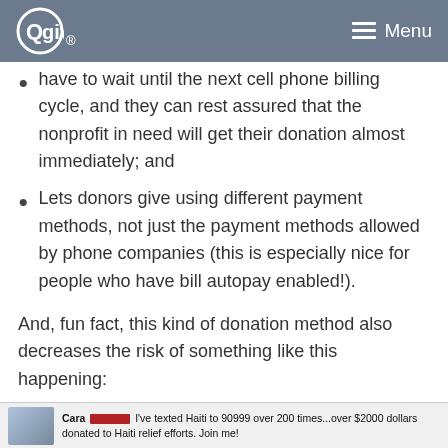Qgiv | Menu
…have to wait until the next cell phone billing cycle, and they can rest assured that the nonprofit in need will get their donation almost immediately; and
Lets donors give using different payment methods, not just the payment methods allowed by phone companies (this is especially nice for people who have bill autopay enabled!).
And, fun fact, this kind of donation method also decreases the risk of something like this happening:
[Figure (screenshot): Screenshot of a social media post by Cara with a red bar/username redaction reading: I've texted Haiti to 90999 over 200 times...over $2000 dollars donated to Haiti relief efforts. Join me!]